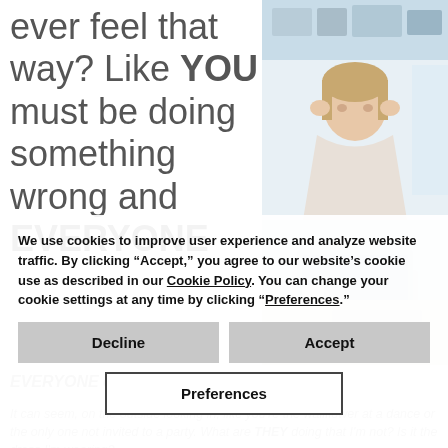ever feel that way? Like YOU must be doing something wrong and EVERYONE else is doing something right?
[Figure (photo): Woman sitting at desk with laptop, holding her temples with both hands, appearing stressed, in a bright office environment]
EVERYONE else is doing something right?
It can seem, on the outside looking in, like you're the wallflower at a dance or the only one not invited to a party. What are THEY doing that I'm not? Is it the dress I'm wearing? Am I not in the "in" crowd?
And while I can't say definitively what everyone else is doing and you're not, to get clients and
We use cookies to improve user experience and analyze website traffic. By clicking “Accept,” you agree to our website’s cookie use as described in our Cookie Policy. You can change your cookie settings at any time by clicking “Preferences.”
Decline
Accept
Preferences